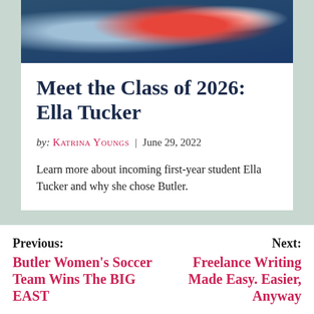[Figure (photo): Partial photo of a person in a red outfit against a blue background, cropped at top of page]
Meet the Class of 2026: Ella Tucker
by: Katrina Youngs | June 29, 2022
Learn more about incoming first-year student Ella Tucker and why she chose Butler.
Previous: Butler Women's Soccer Team Wins The BIG EAST
Next: Freelance Writing Made Easy. Easier, Anyway